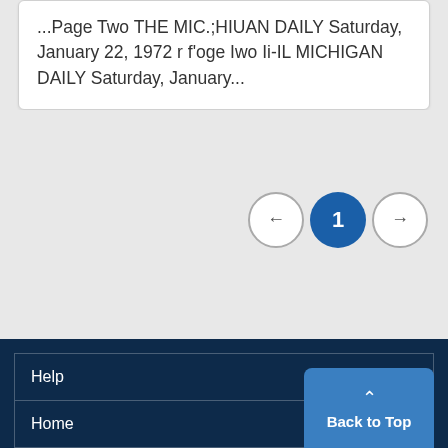...Page Two THE MIC.;HIUAN DAILY Saturday, January 22, 1972 r f'oge Iwo Ii-IL MICHIGAN DAILY Saturday, January...
[Figure (other): Pagination controls showing left arrow button, active page 1 button (blue), and right arrow button]
Help
Home
Back to Top